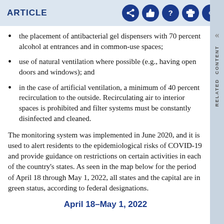ARTICLE
the placement of antibacterial gel dispensers with 70 percent alcohol at entrances and in common-use spaces;
use of natural ventilation where possible (e.g., having open doors and windows); and
in the case of artificial ventilation, a minimum of 40 percent recirculation to the outside. Recirculating air to interior spaces is prohibited and filter systems must be constantly disinfected and cleaned.
The monitoring system was implemented in June 2020, and it is used to alert residents to the epidemiological risks of COVID-19 and provide guidance on restrictions on certain activities in each of the country's states. As seen in the map below for the period of April 18 through May 1, 2022, all states and the capital are in green status, according to federal designations.
April 18–May 1, 2022